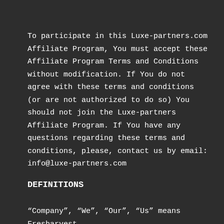To participate in this Luxe-partners.com Affiliate Program, You must accept these Affiliate Program Terms and Conditions without modification. If You do not agree with these terms and conditions (or are not authorized to do so) You should not join the Luxe-partners Affiliate Program. If You have any questions regarding these terms and conditions, please, contact us by email: info@luxe-partners.com
DEFINITIONS
“Company”, “We”, “Our”, “Us” means Fresharvest